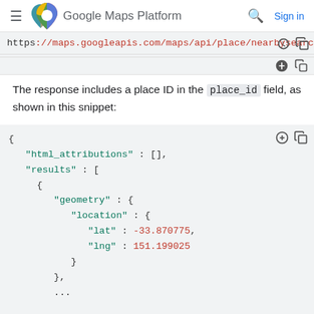Google Maps Platform  Sign in
https://maps.googleapis.com/maps/api/place/nearbysearc
The response includes a place ID in the place_id field, as shown in this snippet:
{
  "html_attributions" : [],
  "results" : [
    {
      "geometry" : {
        "location" : {
          "lat" : -33.870775,
          "lng" : 151.199025
        }
      },
      ...
    }